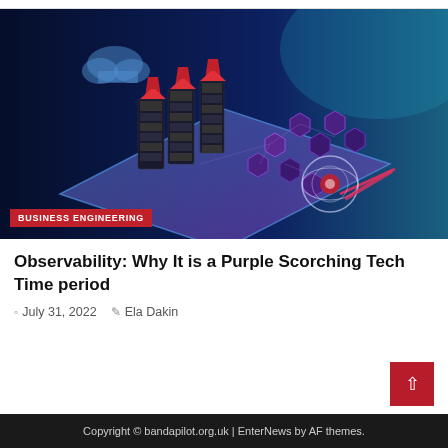[Figure (illustration): Isometric tech illustration showing a dark blue digital tablet/circuit board with glowing red arrow-shaped server towers, purple hexagonal network nodes with icons, a circular eye symbol, floating connectivity elements, and a cloud icon. Dark blue background with teal gradient top-right. Red 'BUSINESS ENGINEERING' badge overlaid at bottom-left.]
Observability: Why It is a Purple Scorching Tech Time period
July 31, 2022   Ela Dakin
Copyright © bandapilot.org.uk | EnterNews by AF themes.